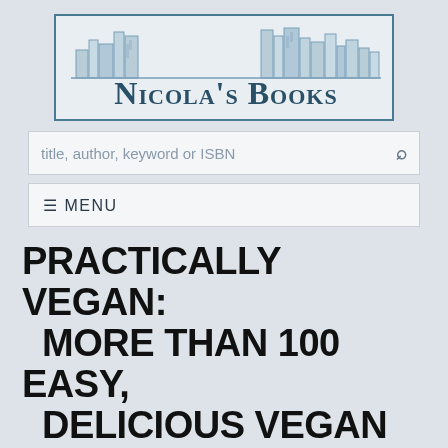[Figure (logo): Nicola's Books logo with stylized book spines skyline and text 'Nicola's Books' in small-caps serif font, enclosed in a rectangular border]
title, author, keyword or ISBN
≡ MENU
PRACTICALLY VEGAN: MORE THAN 100 EASY, DELICIOUS VEGAN DINNERS ON A BUDGET: A COOKBOOK